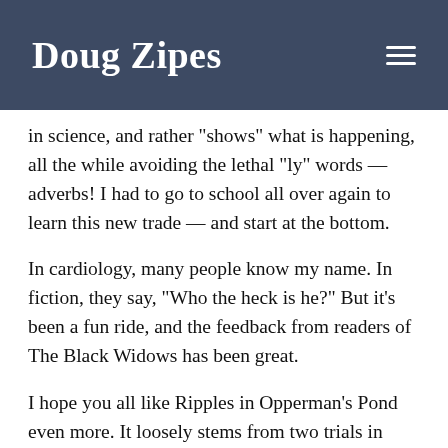Doug Zipes
in science, and rather "shows" what is happening, all the while avoiding the lethal "ly" words — adverbs! I had to go to school all over again to learn this new trade — and start at the bottom.
In cardiology, many people know my name. In fiction, they say, "Who the heck is he?" But it's been a fun ride, and the feedback from readers of The Black Widows has been great.
I hope you all like Ripples in Opperman's Pond even more. It loosely stems from two trials in which I participated, one as a defense expert defending a colleague accused of malpractice